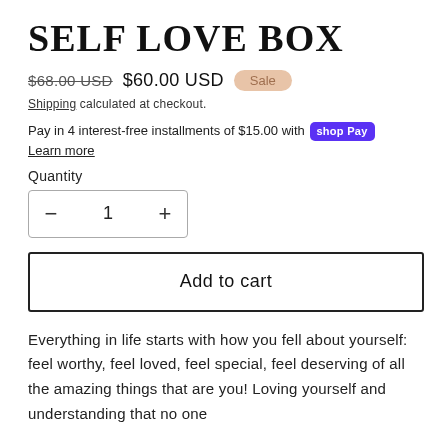SELF LOVE BOX
$68.00 USD  $60.00 USD  Sale
Shipping calculated at checkout.
Pay in 4 interest-free installments of $15.00 with shop Pay
Learn more
Quantity
- 1 +
Add to cart
Everything in life starts with how you fell about yourself: feel worthy, feel loved, feel special, feel deserving of all the amazing things that are you! Loving yourself and understanding that no one